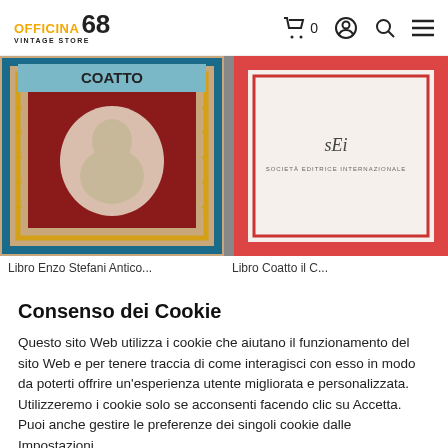Officina 68 Vintage Store — navigation bar with cart, account, search, menu icons
[Figure (photo): Book cover titled COATTO with decorative border pattern in blue and yellow, dark red center with illustrated figures]
[Figure (photo): Book with white cover showing 'sEi' and 'SOCIETA EDITRICE INTERNAZIONALE' text, red border frame]
Libro Enzo Stefani Antico...
Libro Coatto il C...
Consenso dei Cookie
Questo sito Web utilizza i cookie che aiutano il funzionamento del sito Web e per tenere traccia di come interagisci con esso in modo da poterti offrire un'esperienza utente migliorata e personalizzata. Utilizzeremo i cookie solo se acconsenti facendo clic su Accetta. Puoi anche gestire le preferenze dei singoli cookie dalle Impostazioni.
Preferenze
Accettare tutto